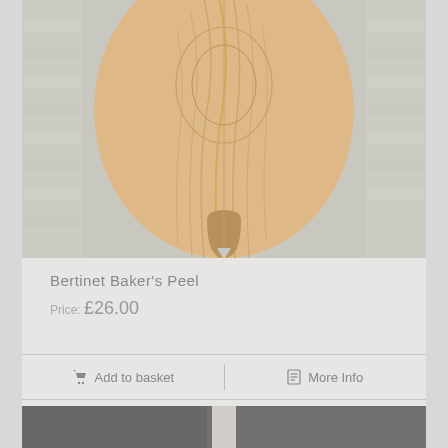[Figure (photo): A wooden baker's peel (paddle board) with visible wood grain, photographed against a white brick wall background. The peel has an oval/rounded shape at the top and a handle at the bottom.]
Bertinet Baker's Peel
Price: £26.00
Add to basket
More Info
[Figure (photo): Partial view of another product image at the bottom of the page, showing a dark grey/slate colored item, partially cropped.]